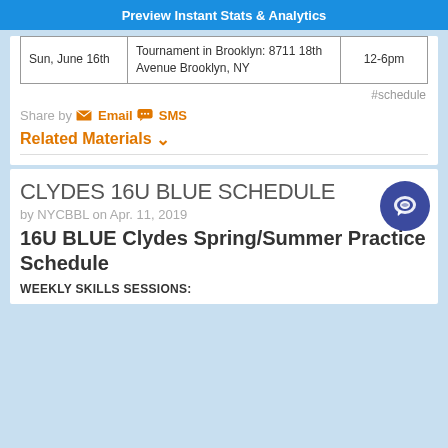Preview Instant Stats & Analytics
| Sun, June 16th | Tournament in Brooklyn: 8711 18th Avenue Brooklyn, NY | 12-6pm |
#schedule
Share by  Email  SMS
Related Materials ∨
CLYDES 16U BLUE SCHEDULE
by NYCBBL on Apr. 11, 2019
16U BLUE Clydes Spring/Summer Practice Schedule
WEEKLY SKILLS SESSIONS: